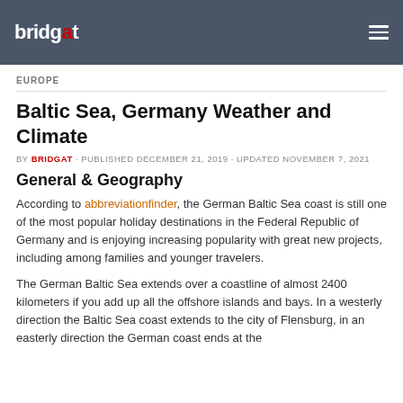bridgat
EUROPE
Baltic Sea, Germany Weather and Climate
BY BRIDGAT · PUBLISHED DECEMBER 21, 2019 · UPDATED NOVEMBER 7, 2021
General & Geography
According to abbreviationfinder, the German Baltic Sea coast is still one of the most popular holiday destinations in the Federal Republic of Germany and is enjoying increasing popularity with great new projects, including among families and younger travelers.
The German Baltic Sea extends over a coastline of almost 2400 kilometers if you add up all the offshore islands and bays. In a westerly direction the Baltic Sea coast extends to the city of Flensburg, in an easterly direction the German coast ends at the